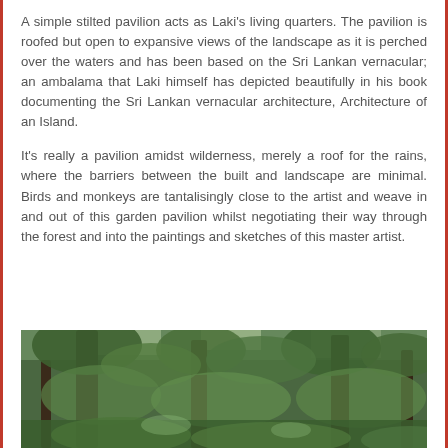A simple stilted pavilion acts as Laki's living quarters. The pavilion is roofed but open to expansive views of the landscape as it is perched over the waters and has been based on the Sri Lankan vernacular; an ambalama that Laki himself has depicted beautifully in his book documenting the Sri Lankan vernacular architecture, Architecture of an Island.
It's really a pavilion amidst wilderness, merely a roof for the rains, where the barriers between the built and landscape are minimal. Birds and monkeys are tantalisingly close to the artist and weave in and out of this garden pavilion whilst negotiating their way through the forest and into the paintings and sketches of this master artist.
[Figure (photo): Photograph of a forested area with trees and dense green foliage, partially cut off at the bottom of the page.]